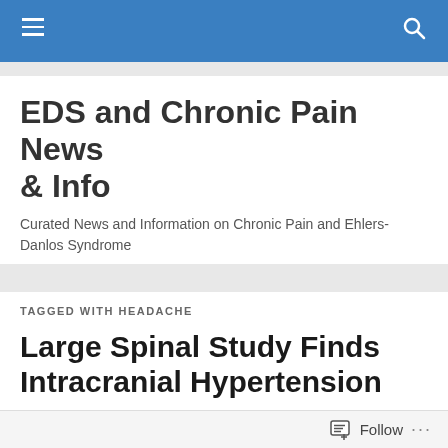EDS and Chronic Pain News & Info
EDS and Chronic Pain News & Info
Curated News and Information on Chronic Pain and Ehlers-Danlos Syndrome
TAGGED WITH HEADACHE
Large Spinal Study Finds Intracranial Hypertension
Under Pressure: Large Spinal Study Finds Intracranial
Follow